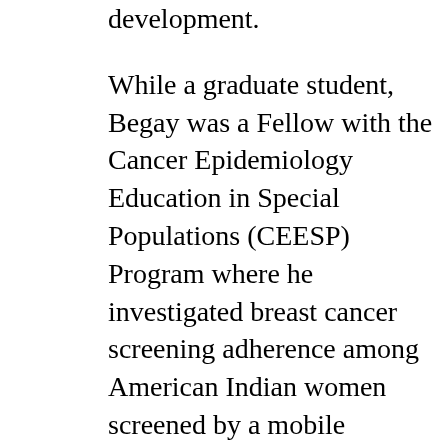development.
While a graduate student, Begay was a Fellow with the Cancer Epidemiology Education in Special Populations (CEESP) Program where he investigated breast cancer screening adherence among American Indian women screened by a mobile mammography unit. Following graduate school, Begay served as an Epidemiologist and Program Coordinator with the Great Lakes Inter-Tribal Epidemiology Center where he was instrumental in fostering collaborative partnerships with tribal, state, and federal stakeholders in Minnesota, Wisconsin, and Michigan to develop a regional opioid